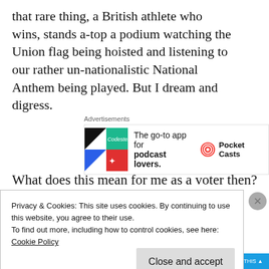that rare thing, a British athlete who wins, stands a-top a podium watching the Union flag being hoisted and listening to our rather un-nationalistic National Anthem being played. But I dream and digress.
[Figure (other): Advertisement for Pocket Casts app: 'The go-to app for podcast lovers.' with Pocket Casts logo]
What does this mean for me as a voter then?
Privacy & Cookies: This site uses cookies. By continuing to use this website, you agree to their use.
To find out more, including how to control cookies, see here: Cookie Policy